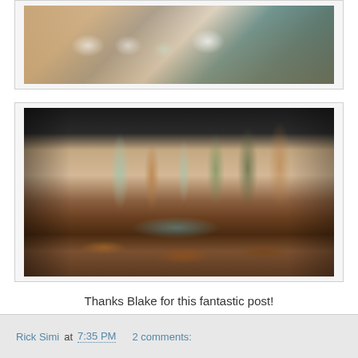[Figure (photo): Collection of antique ceramic jars with lids and glass bottles arranged on a surface, photographed from above at an outdoor setting.]
[Figure (photo): Collection of antique glass bottles of various colors (amber, green, clear) and flat bottles arranged on a table, with broken flat glass pieces in the center foreground.]
Thanks Blake for this fantastic post!
Rick Simi at 7:35 PM   2 comments: